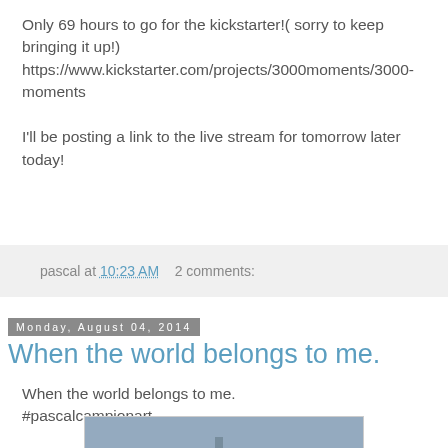Only 69 hours to go for the kickstarter!( sorry to keep bringing it up!)
https://www.kickstarter.com/projects/3000moments/3000-moments

I'll be posting a link to the live stream for tomorrow later today!
pascal at 10:23 AM   2 comments:
Monday, August 04, 2014
When the world belongs to me.
When the world belongs to me.
#pascalcampionart.
[Figure (photo): A blue-grey atmospheric illustration showing a night scene with trees and a crescent moon]